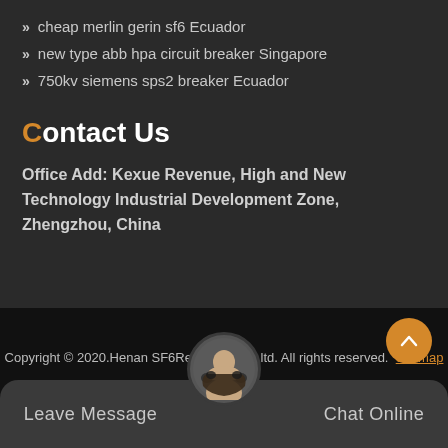cheap merlin gerin sf6 Ecuador
new type abb hpa circuit breaker Singapore
750kv siemens sps2 breaker Ecuador
Contact Us
Office Add: Kexue Revenue, High and New Technology Industrial Development Zone, Zhengzhou, China
Copyright © 2020.Henan SF6Relations Co., ltd. All rights reserved. Sitemap
Leave Message
Chat Online